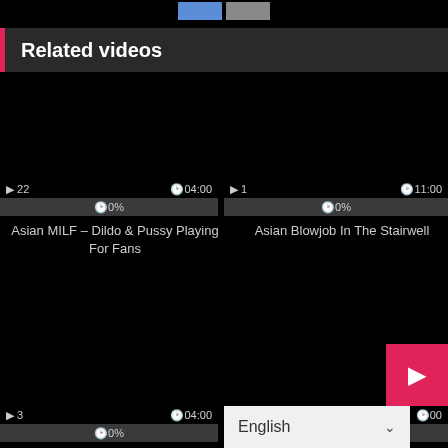[Figure (screenshot): Two navigation buttons at top: blue button and gray button]
Related videos
[Figure (screenshot): Video thumbnail - black, shows: 22 views, 04:00 duration, 0% rating. Title: Asian MILF – Dildo & Pussy Playing For Fans]
Asian MILF – Dildo & Pussy Playing For Fans
[Figure (screenshot): Video thumbnail - black, shows: 1 view, 11:00 duration, 0% rating. Title: Asian Blowjob In The Stairwell]
Asian Blowjob In The Stairwell
[Figure (screenshot): Second row video thumbnail - black, shows: 3 views, 04:00 duration, 0% rating]
[Figure (screenshot): Second row right video thumbnail - partial, shows time 00 and language dropdown: English]
English